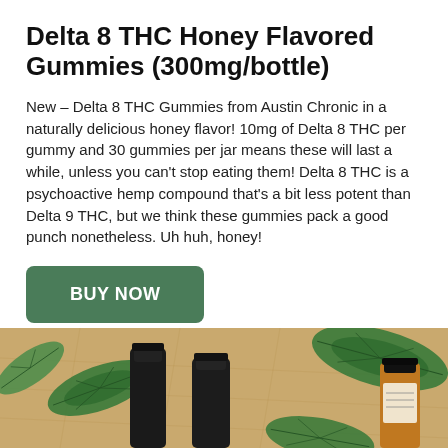Delta 8 THC Honey Flavored Gummies (300mg/bottle)
New – Delta 8 THC Gummies from Austin Chronic in a naturally delicious honey flavor! 10mg of Delta 8 THC per gummy and 30 gummies per jar means these will last a while, unless you can't stop eating them! Delta 8 THC is a psychoactive hemp compound that's a bit less potent than Delta 9 THC, but we think these gummies pack a good punch nonetheless. Uh huh, honey!
[Figure (other): Green rounded rectangle button with white bold text reading BUY NOW]
[Figure (photo): Photograph showing three dark black dropper/bottle caps against a sandy tan background with large green cannabis/hemp leaves. On the right edge is a partial amber-colored bottle with a label.]